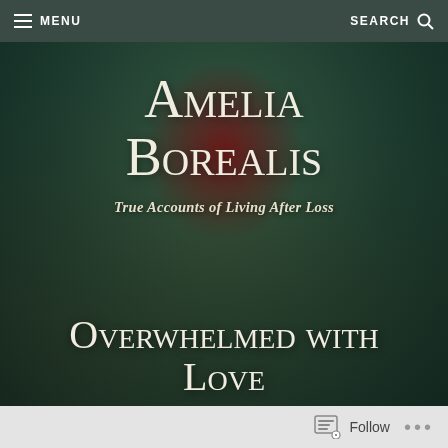≡ MENU    SEARCH 🔍
Amelia Borealis
True Accounts of Living After Loss
Overwhelmed with Love
Follow  •••